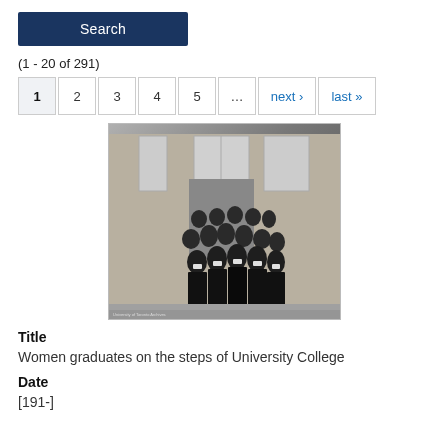Search
(1 - 20 of 291)
1 2 3 4 5 ... next › last »
[Figure (photo): Black and white photograph of women graduates in academic gowns and mortarboard caps standing on the steps of University College. Caption reads: University of Toronto Archives.]
Title
Women graduates on the steps of University College
Date
[191-]